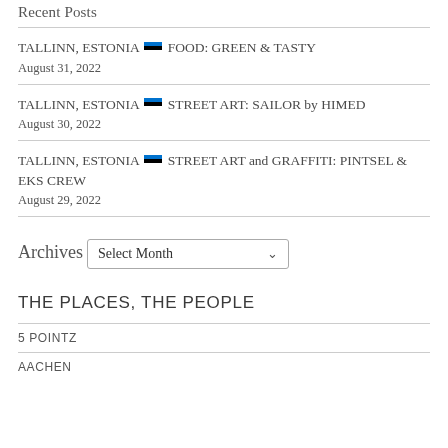Recent Posts
TALLINN, ESTONIA 🇪🇪 FOOD: GREEN & TASTY
August 31, 2022
TALLINN, ESTONIA 🇪🇪 STREET ART: SAILOR by HIMED
August 30, 2022
TALLINN, ESTONIA 🇪🇪 STREET ART and GRAFFITI: PINTSEL & EKS CREW
August 29, 2022
Archives
Select Month
THE PLACES, THE PEOPLE
5 POINTZ
AACHEN